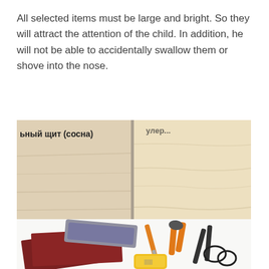All selected items must be large and bright. So they will attract the attention of the child. In addition, he will not be able to accidentally swallow them or shove into the nose.
[Figure (photo): Photo of two wood panels side by side — left side shows a pine wood shield (labeled 'ьный щит (сосна)') with visible horizontal grain lines, right side shows a lighter plywood panel (partially labeled). Both panels have a pale yellow-beige color.]
[Figure (photo): Photo of workshop tools: sandpaper sheets (dark red/maroon), a sanding block, a screwdriver, orange-handled pliers, black scissors, and a yellow measuring tape on a white background.]